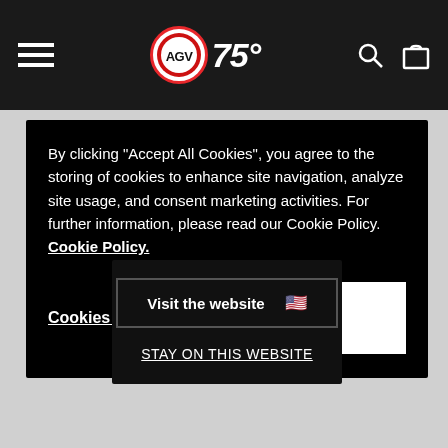AGV 75° Anniversary website navigation bar with hamburger menu, logo, search and cart icons
By clicking "Accept All Cookies", you agree to the storing of cookies to enhance site navigation, analyze site usage, and consent marketing activities. For further information, please read our Cookie Policy. Cookie Policy.
Cookies Settings
Accept All Cookies
Select Size
[Figure (other): Gray placeholder button area]
[Figure (other): Star rating: approximately 4.5 out of 5 gold stars]
Visit the website 🇺🇸
STAY ON THIS WEBSITE